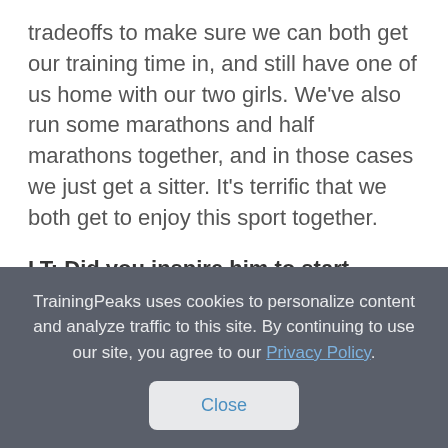tradeoffs to make sure we can both get our training time in, and still have one of us home with our two girls. We've also run some marathons and half marathons together, and in those cases we just get a sitter. It's terrific that we both get to enjoy this sport together.
LT: Did you inspire him to start running marathons or vice versa?
GM: Partly. He came to watch me run the
TrainingPeaks uses cookies to personalize content and analyze traffic to this site. By continuing to use our site, you agree to our Privacy Policy.
Close